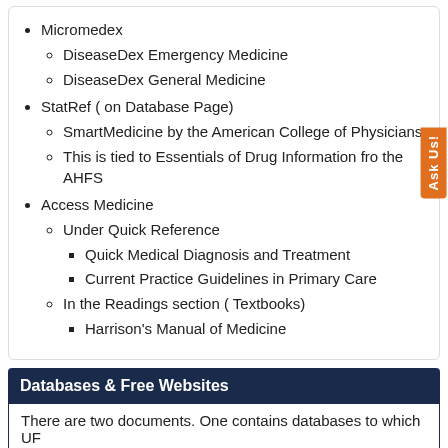Micromedex
DiseaseDex Emergency Medicine
DiseaseDex General Medicine
StatRef ( on Database Page)
SmartMedicine by the American College of Physicians
This is tied to Essentials of Drug Information from the AHFS
Access Medicine
Under Quick Reference
Quick Medical Diagnosis and Treatment
Current Practice Guidelines in Primary Care
In the Readings section ( Textbooks)
Harrison's Manual of Medicine
Databases & Free Websites
There are two documents. One contains databases to which UF